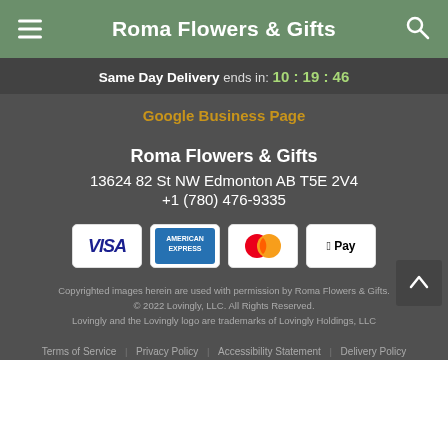Roma Flowers & Gifts
Same Day Delivery ends in: 10 : 19 : 46
Google Business Page
Roma Flowers & Gifts
13624 82 St NW Edmonton AB T5E 2V4
+1 (780) 476-9335
[Figure (infographic): Payment method icons: Visa, American Express, Mastercard, Apple Pay]
Copyrighted images herein are used with permission by Roma Flowers & Gifts.
© 2022 Lovingly, LLC. All Rights Reserved.
Lovingly and the Lovingly logo are trademarks of Lovingly Holdings, LLC
Terms of Service | Privacy Policy | Accessibility Statement | Delivery Policy